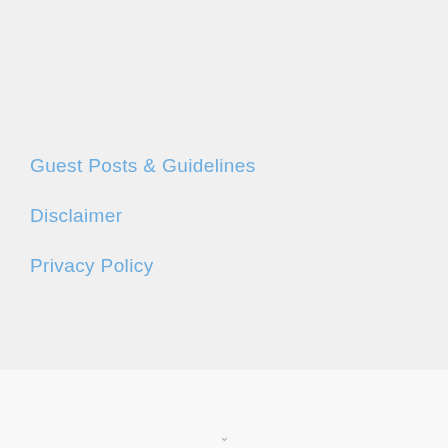Guest Posts & Guidelines
Disclaimer
Privacy Policy
[Figure (illustration): Blue semicircle button/icon in bottom-right area]
∨